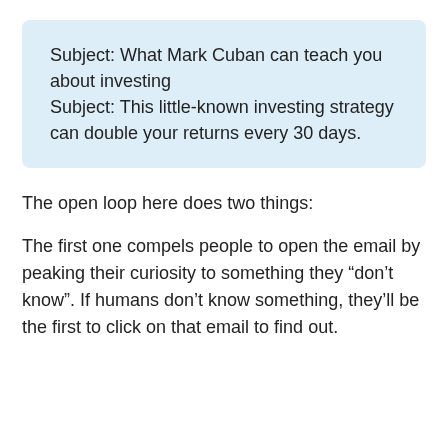Subject: What Mark Cuban can teach you about investing
Subject: This little-known investing strategy can double your returns every 30 days.
The open loop here does two things:
The first one compels people to open the email by peaking their curiosity to something they “don’t know”. If humans don’t know something, they’ll be the first to click on that email to find out.